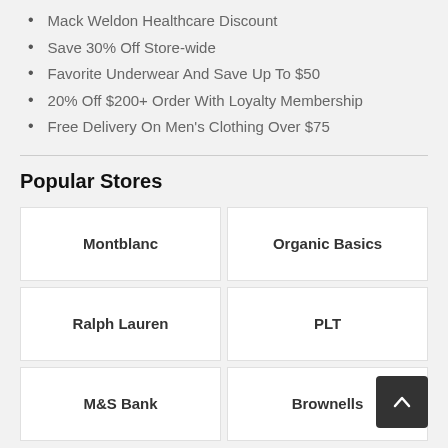Mack Weldon Healthcare Discount
Save 30% Off Store-wide
Favorite Underwear And Save Up To $50
20% Off $200+ Order With Loyalty Membership
Free Delivery On Men's Clothing Over $75
Popular Stores
| Montblanc | Organic Basics |
| Ralph Lauren | PLT |
| M&S Bank | Brownells |